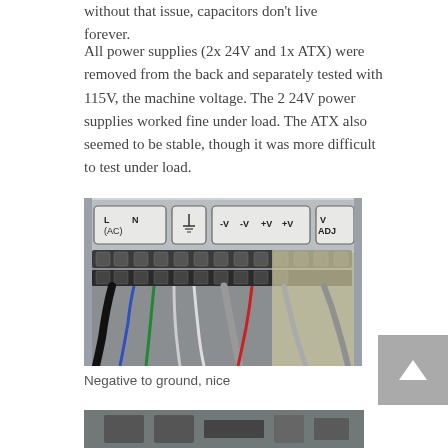without that issue, capacitors don't live forever.
All power supplies (2x 24V and 1x ATX) were removed from the back and separately tested with 115V, the machine voltage. The 2 24V power supplies worked fine under load. The ATX also seemed to be stable, though it was more difficult to test under load.
[Figure (photo): Close-up photograph of a power supply terminal block with labeled terminals: L (AC), N, ground symbol, -V, -V, +V, +V, V ADJ. Multiple wires are connected including black, blue, green, white, and red wires.]
Negative to ground, nice
[Figure (photo): Partial view of another component, bottom of page cropped.]